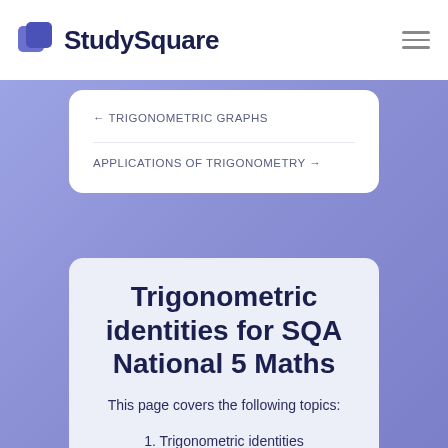StudySquare
← TRIGONOMETRIC GRAPHS
APPLICATIONS OF TRIGONOMETRY →
Trigonometric identities for SQA National 5 Maths
This page covers the following topics:
1. Trigonometric identities
2. Trigonometric equations